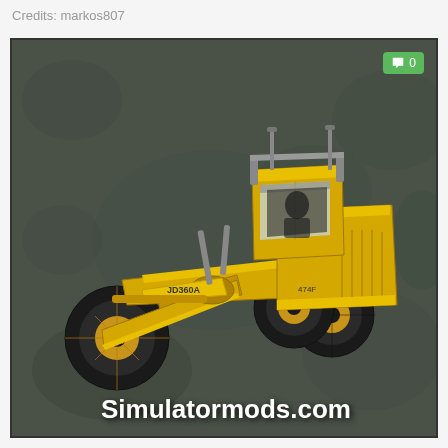Credits: markos807
[Figure (photo): 3D render of a yellow motor grader (road grader) on a dark grey textured background, with 'Simulatormods.com' text at the bottom. A green comment badge showing '0' is in the top-right corner of the image.]
Simulatormods.com